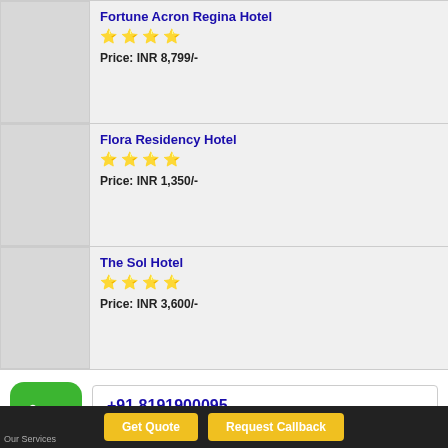Fortune Acron Regina Hotel — 4 stars — Price: INR 8,799/-
Flora Residency Hotel — 4 stars — Price: INR 1,350/-
The Sol Hotel — 4 stars — Price: INR 3,600/-
[Figure (illustration): Green rounded square phone icon with white telephone handset]
+91.8191900095
+91.8191900076
Get Quote   Request Callback
Our Services